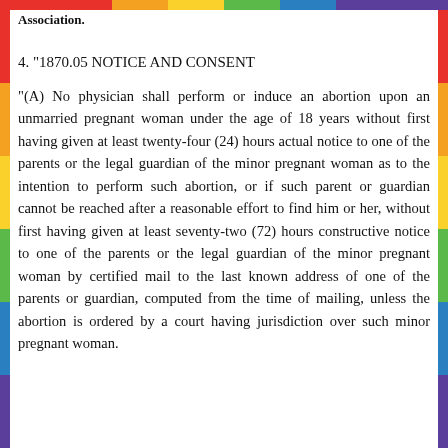Association.
4. "1870.05 NOTICE AND CONSENT
"(A) No physician shall perform or induce an abortion upon an unmarried pregnant woman under the age of 18 years without first having given at least twenty-four (24) hours actual notice to one of the parents or the legal guardian of the minor pregnant woman as to the intention to perform such abortion, or if such parent or guardian cannot be reached after a reasonable effort to find him or her, without first having given at least seventy-two (72) hours constructive notice to one of the parents or the legal guardian of the minor pregnant woman by certified mail to the last known address of one of the parents or guardian, computed from the time of mailing, unless the abortion is ordered by a court having jurisdiction over such minor pregnant woman.